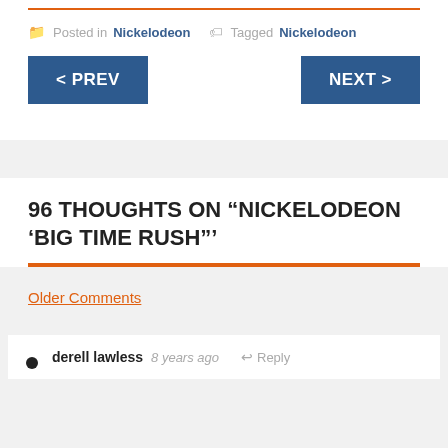Posted in Nickelodeon  Tagged Nickelodeon
< PREV
NEXT >
96 THOUGHTS ON “NICKELODEON ‘BIG TIME RUSH’”
Older Comments
derell lawless  8 years ago   Reply